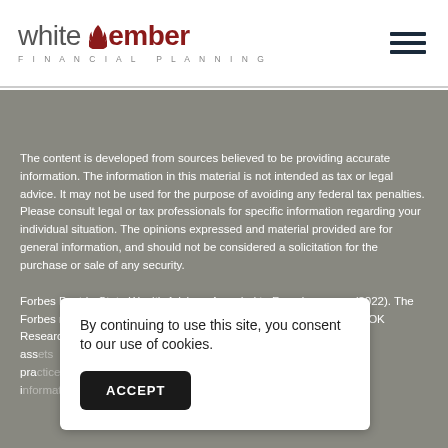[Figure (logo): White Ember Financial Planning logo with flame icon]
The content is developed from sources believed to be providing accurate information. The information in this material is not intended as tax or legal advice. It may not be used for the purpose of avoiding any federal tax penalties. Please consult legal or tax professionals for specific information regarding your individual situation. The opinions expressed and material provided are for general information, and should not be considered a solicitation for the purchase or sale of any security.
Forbes Best-in-State Wealth Advisor: Awarded to Ross Lawrence (2022). The Forbes ranking of Best-In-State Wealth Advisors, developed by SHOOK Research, is b...ith a m...ass...pra...ce i...
By continuing to use this site, you consent to our use of cookies.